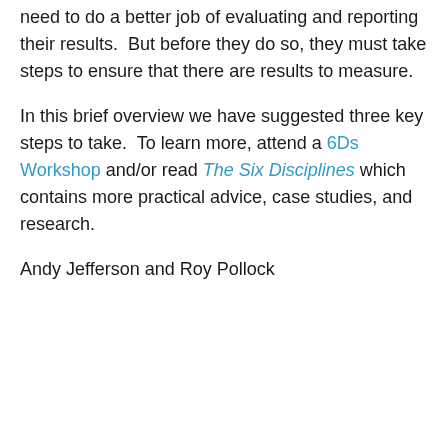need to do a better job of evaluating and reporting their results.  But before they do so, they must take steps to ensure that there are results to measure.
In this brief overview we have suggested three key steps to take.  To learn more, attend a 6Ds Workshop and/or read The Six Disciplines which contains more practical advice, case studies, and research.
Andy Jefferson and Roy Pollock